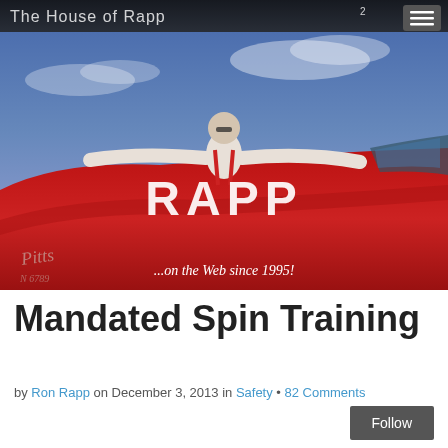[Figure (photo): Website header banner for 'The House of Rapp' blog showing a person standing with outstretched arms on a red airplane against a blue sky background. Text overlay reads 'The House of Rapp' and '...on the Web since 1995!']
Mandated Spin Training
by Ron Rapp on December 3, 2013 in Safety • 82 Comments